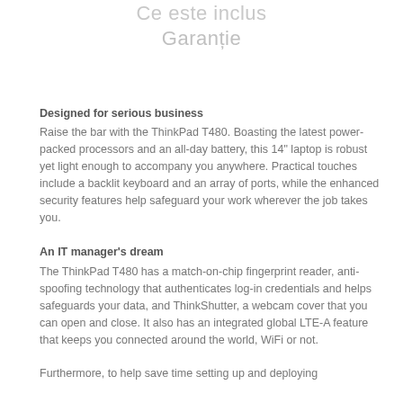Ce este inclus
Garanție
Designed for serious business
Raise the bar with the ThinkPad T480. Boasting the latest power-packed processors and an all-day battery, this 14" laptop is robust yet light enough to accompany you anywhere. Practical touches include a backlit keyboard and an array of ports, while the enhanced security features help safeguard your work wherever the job takes you.
An IT manager's dream
The ThinkPad T480 has a match-on-chip fingerprint reader, anti-spoofing technology that authenticates log-in credentials and helps safeguards your data, and ThinkShutter, a webcam cover that you can open and close. It also has an integrated global LTE-A feature that keeps you connected around the world, WiFi or not.
Furthermore, to help save time setting up and deploying